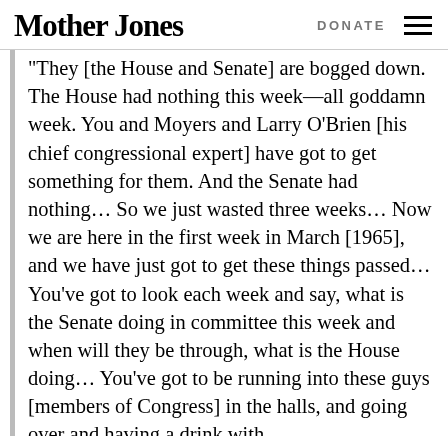Mother Jones | DONATE
"They [the House and Senate] are bogged down. The House had nothing this week—all goddamn week. You and Moyers and Larry O'Brien [his chief congressional expert] have got to get something for them. And the Senate had nothing... So we just wasted three weeks... Now we are here in the first week in March [1965], and we have just got to get these things passed... You've got to look each week and say, what is the Senate doing in committee this week and when will they be through, what is the House doing... You've got to be running into these guys [members of Congress] in the halls, and going over and having a drink with them, in the evenings... I'll save you. Get in